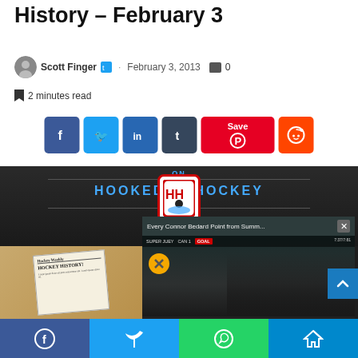History – February 3
Scott Finger · February 3, 2013  0
2 minutes read
[Figure (screenshot): Social share buttons: Facebook, Twitter, LinkedIn, Tumblr, Pinterest (Save), Reddit]
[Figure (photo): Hooked on Hockey logo banner with hockey history newspaper image and a video popup overlay showing Every Connor Bedard Point from Summ... with a goal screen and mute button]
[Figure (screenshot): Bottom social share bar with Facebook, Twitter, WhatsApp, and Telegram buttons]